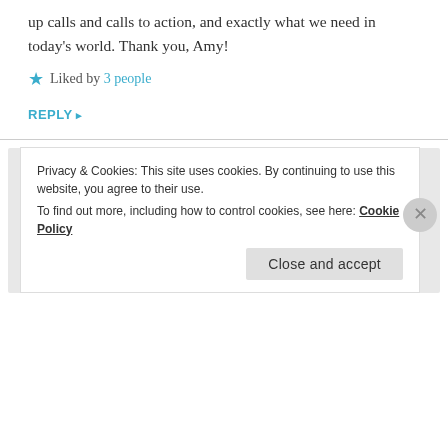up calls and calls to action, and exactly what we need in today's world. Thank you, Amy!
★ Liked by 3 people
REPLY ▸
alhenry says:
October 18, 2018 at 3:54 pm
Thanks for your suggestion and encouragement. I've actually thought about doing this. I started
Privacy & Cookies: This site uses cookies. By continuing to use this website, you agree to their use.
To find out more, including how to control cookies, see here: Cookie Policy
Close and accept